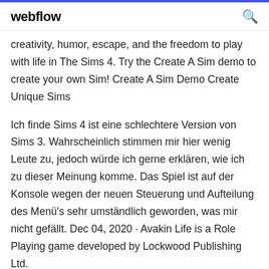webflow
creativity, humor, escape, and the freedom to play with life in The Sims 4. Try the Create A Sim demo to create your own Sim! Create A Sim Demo Create Unique Sims
Ich finde Sims 4 ist eine schlechtere Version von Sims 3. Wahrscheinlich stimmen mir hier wenig Leute zu, jedoch würde ich gerne erklären, wie ich zu dieser Meinung komme. Das Spiel ist auf der Konsole wegen der neuen Steuerung und Aufteilung des Menü's sehr umständlich geworden, was mir nicht gefällt. Dec 04, 2020 · Avakin Life is a Role Playing game developed by Lockwood Publishing Ltd.